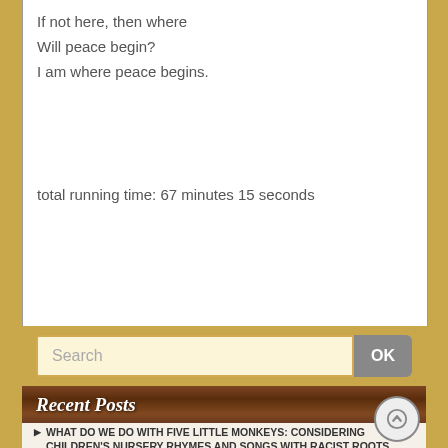If not here, then where
Will peace begin?
I am where peace begins.
total running time: 67 minutes 15 seconds
Recent Posts
WHAT DO WE DO WITH FIVE LITTLE MONKEYS: CONSIDERING CHILDREN'S NURSERY RHYMES AND SONGS WITH RACIST ROOTS
Dancing Spring
Story-Weaving: Climbing Up the Apple Tree
HOW DO YOU TREAT THE STRANGER AT YOUR DOOR
DANCING SPRING
"Won't You Be My Valentine"